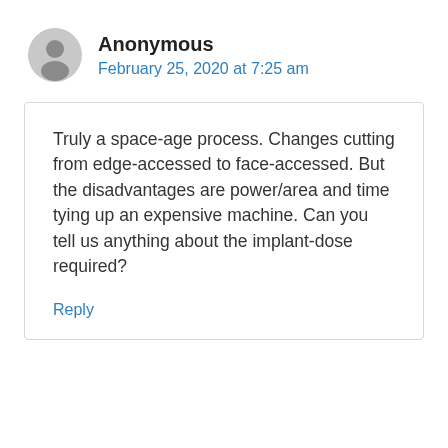Anonymous
February 25, 2020 at 7:25 am
Truly a space-age process. Changes cutting from edge-accessed to face-accessed. But the disadvantages are power/area and time tying up an expensive machine. Can you tell us anything about the implant-dose required?
Reply